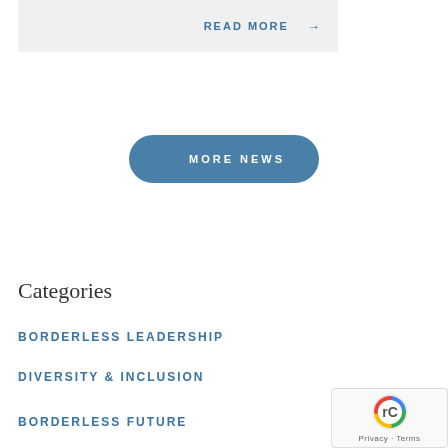READ MORE →
MORE NEWS
Categories
BORDERLESS LEADERSHIP
DIVERSITY & INCLUSION
BORDERLESS FUTURE